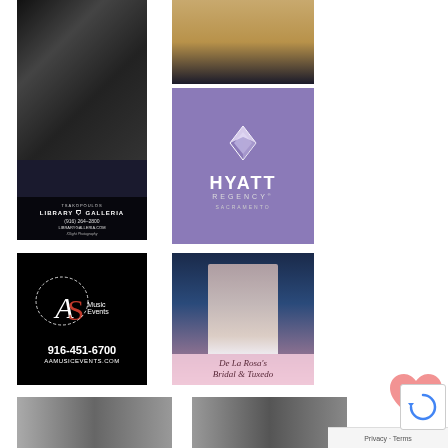[Figure (photo): Tsakopoulos Library Galleria advertisement with wedding dress photo, phone (916) 264-2800, website LIBRARYGALLERIA.COM, photo credit XSight Photography]
[Figure (photo): Hyatt Regency Sacramento top banner showing event hall interior]
[Figure (logo): Hyatt Regency Sacramento purple logo advertisement]
[Figure (logo): AA Music Events advertisement with logo, phone 916-451-6700, website AAMUSICEVENTS.COM]
[Figure (photo): De La Rosa's Bridal & Tuxedo advertisement with bride photo]
[Figure (photo): Black and white wedding photo bottom left]
[Figure (photo): Black and white wedding photo bottom right]